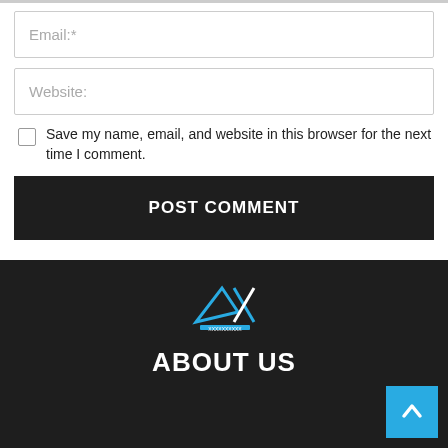Email:*
Website:
Save my name, email, and website in this browser for the next time I comment.
POST COMMENT
[Figure (logo): AX logo with stylized letters and small text below, in cyan/white on dark background]
ABOUT US